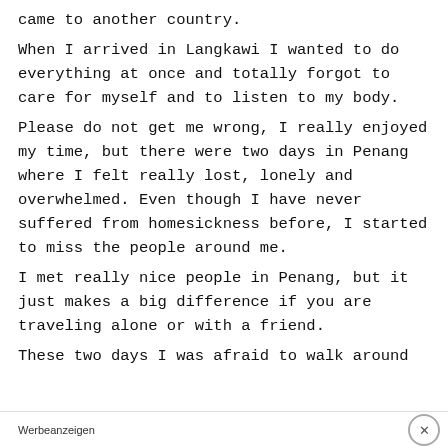came to another country.
When I arrived in Langkawi I wanted to do everything at once and totally forgot to care for myself and to listen to my body.
Please do not get me wrong, I really enjoyed my time, but there were two days in Penang where I felt really lost, lonely and overwhelmed. Even though I have never suffered from homesickness before, I started to miss the people around me.
I met really nice people in Penang, but it just makes a big difference if you are traveling alone or with a friend.
These two days I was afraid to walk around
Werbeanzeigen